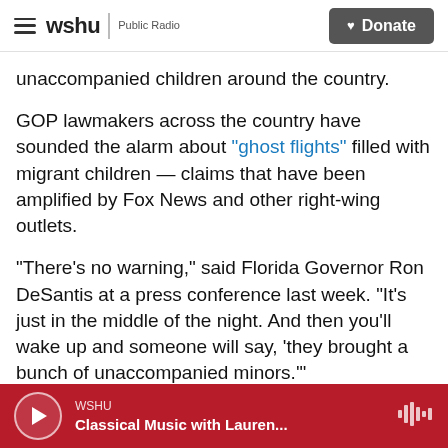WSHU | Public Radio — Donate
unaccompanied children around the country.
GOP lawmakers across the country have sounded the alarm about "ghost flights" filled with migrant children — claims that have been amplified by Fox News and other right-wing outlets.
"There's no warning," said Florida Governor Ron DeSantis at a press conference last week. "It's just in the middle of the night. And then you'll wake up and someone will say, 'they brought a bunch of unaccompanied minors.'"
But federal officials insist that these flights
WSHU — Classical Music with Lauren...